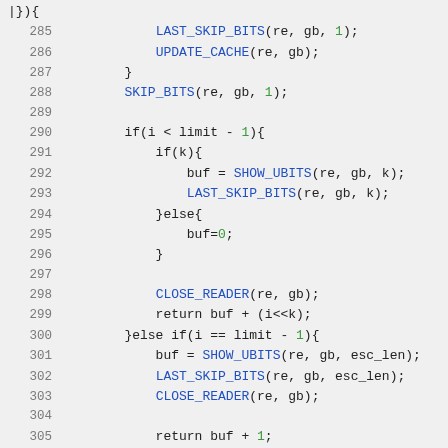[Figure (screenshot): Source code snippet in a code editor showing C/C++ code lines 285-308 with syntax highlighting. Blue text for function/macro names, green text for numeric literals. Lines include LAST_SKIP_BITS, UPDATE_CACHE, SKIP_BITS, conditional blocks with SHOW_UBITS, CLOSE_READER, return statements.]